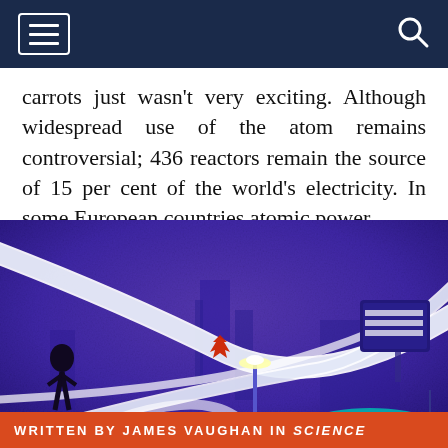[Navigation header with hamburger menu and search icon]
carrots just wasn't very exciting. Although widespread use of the atom remains controversial; 436 reactors remain the source of 15 per cent of the world's electricity. In some European countries atomic power...
[Figure (illustration): Retro futuristic illustration showing a space-age cityscape with swooping curved white tubes or monorail tracks, a stylized dark figure, a red maple leaf emblem, street lamps, and buildings against a purple/violet sky background. A teal dome structure is visible at the bottom right.]
WRITTEN BY JAMES VAUGHAN IN SCIENCE